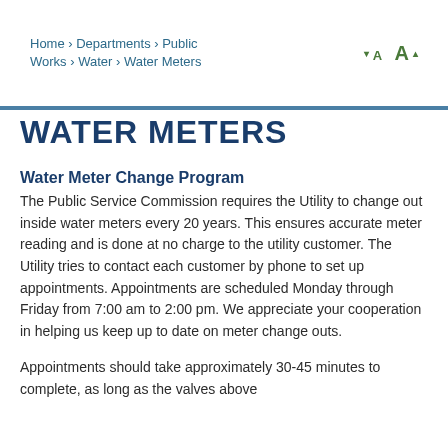Home › Departments › Public Works › Water › Water Meters
WATER METERS
Water Meter Change Program
The Public Service Commission requires the Utility to change out inside water meters every 20 years. This ensures accurate meter reading and is done at no charge to the utility customer. The Utility tries to contact each customer by phone to set up appointments. Appointments are scheduled Monday through Friday from 7:00 am to 2:00 pm. We appreciate your cooperation in helping us keep up to date on meter change outs.
Appointments should take approximately 30-45 minutes to complete, as long as the valves above